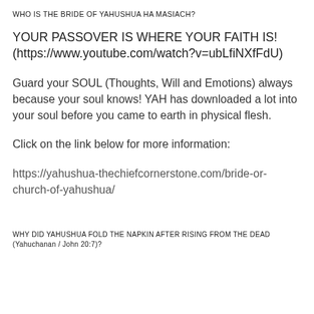WHO IS THE BRIDE OF YAHUSHUA HA MASIACH?
YOUR PASSOVER IS WHERE YOUR FAITH IS!
(https://www.youtube.com/watch?v=ubLfiNXfFdU)
Guard your SOUL (Thoughts, Will and Emotions) always because your soul knows! YAH has downloaded a lot into your soul before you came to earth in physical flesh.
Click on the link below for more information:
https://yahushua-thechiefcornerstone.com/bride-or-church-of-yahushua/
WHY DID YAHUSHUA FOLD THE NAPKIN AFTER RISING FROM THE DEAD (Yahuchanan / John 20:7)?